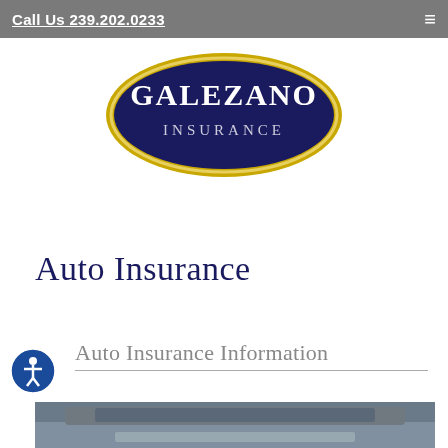Call Us 239.202.0233
[Figure (logo): Galezano Insurance oval logo — dark navy blue oval with gold border, white serif text reading GALEZANO INSURANCE]
Auto Insurance
Auto Insurance Information
[Figure (photo): Partial photo of a car, showing hood and front section, outdoors]